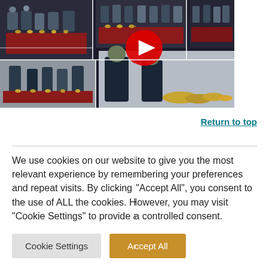[Figure (photo): Photo collage of students and instructors with masks playing hand bells and percussion instruments at a red-draped table. Multiple photos combined with a YouTube play button overlay in the center.]
Return to top
We use cookies on our website to give you the most relevant experience by remembering your preferences and repeat visits. By clicking "Accept All", you consent to the use of ALL the cookies. However, you may visit "Cookie Settings" to provide a controlled consent.